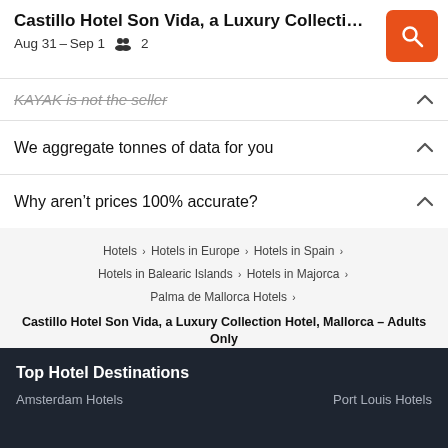Castillo Hotel Son Vida, a Luxury Collection … Aug 31 – Sep 1  2
KAYAK is not the seller
We aggregate tonnes of data for you
Why aren't prices 100% accurate?
Hotels > Hotels in Europe > Hotels in Spain > Hotels in Balearic Islands > Hotels in Majorca > Palma de Mallorca Hotels >
Castillo Hotel Son Vida, a Luxury Collection Hotel, Mallorca – Adults Only
Top Hotel Destinations
Amsterdam Hotels
Port Louis Hotels